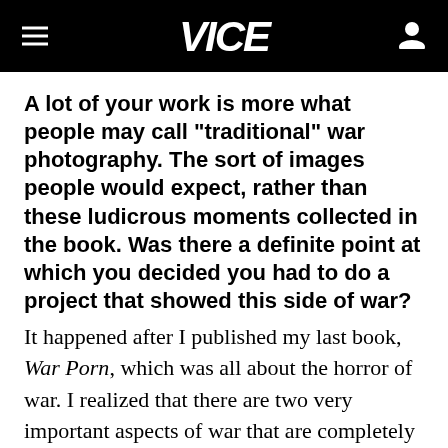VICE
A lot of your work is more what people may call "traditional" war photography. The sort of images people would expect, rather than these ludicrous moments collected in the book. Was there a definite point at which you decided you had to do a project that showed this side of war?
It happened after I published my last book, War Porn, which was all about the horror of war. I realized that there are two very important aspects of war that are completely underrepresented. They are the absolute